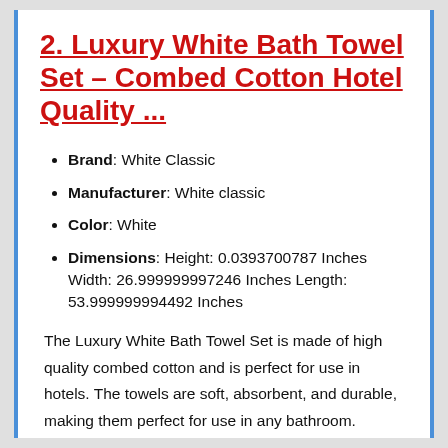2. Luxury White Bath Towel Set – Combed Cotton Hotel Quality ...
Brand: White Classic
Manufacturer: White classic
Color: White
Dimensions: Height: 0.0393700787 Inches Width: 26.999999997246 Inches Length: 53.999999994492 Inches
The Luxury White Bath Towel Set is made of high quality combed cotton and is perfect for use in hotels. The towels are soft, absorbent, and durable, making them perfect for use in any bathroom.